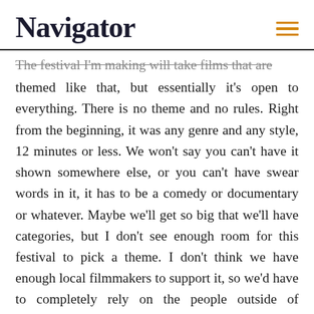Navigator
The festival I'm making will take films that are themed like that, but essentially it's open to everything. There is no theme and no rules. Right from the beginning, it was any genre and any style, 12 minutes or less. We won't say you can't have it shown somewhere else, or you can't have swear words in it, it has to be a comedy or documentary or whatever. Maybe we'll get so big that we'll have categories, but I don't see enough room for this festival to pick a theme. I don't think we have enough local filmmakers to support it, so we'd have to completely rely on the people outside of Nanaimo, whereas having it completely open